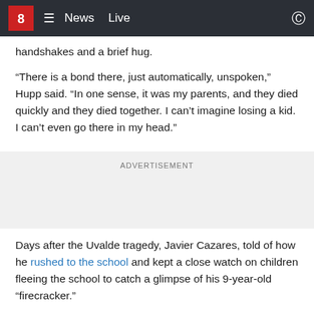8 News Live
handshakes and a brief hug.
“There is a bond there, just automatically, unspoken,” Hupp said. “In one sense, it was my parents, and they died quickly and they died together. I can’t imagine losing a kid. I can’t even go there in my head.”
ADVERTISEMENT
Days after the Uvalde tragedy, Javier Cazares, told of how he rushed to the school and kept a close watch on children fleeing the school to catch a glimpse of his 9-year-old “firecracker.”